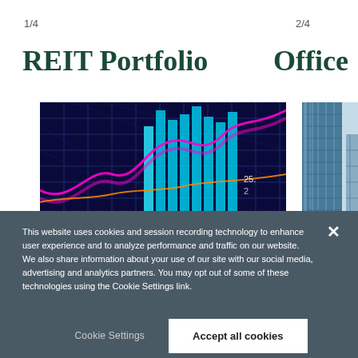1/4
2/4
REIT Portfolio
Office
[Figure (photo): Financial data chart with glowing blue bar chart and pink/orange trend lines on dark blue grid background]
[Figure (photo): Office building glass facade, partially visible, blue tones]
This website uses cookies and session recording technology to enhance user experience and to analyze performance and traffic on our website. We also share information about your use of our site with our social media, advertising and analytics partners. You may opt out of some of these technologies using the Cookie Settings link.
Cookie Settings
Accept all cookies